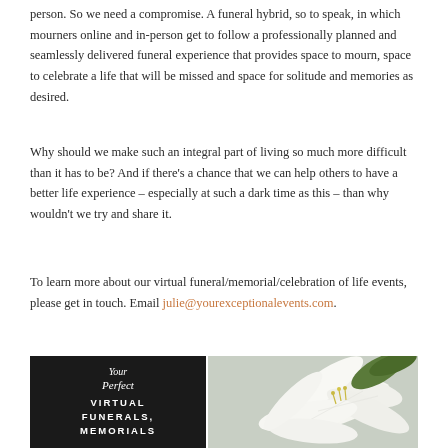person. So we need a compromise. A funeral hybrid, so to speak, in which mourners online and in-person get to follow a professionally planned and seamlessly delivered funeral experience that provides space to mourn, space to celebrate a life that will be missed and space for solitude and memories as desired.
Why should we make such an integral part of living so much more difficult than it has to be? And if there's a chance that we can help others to have a better life experience – especially at such a dark time as this – than why wouldn't we try and share it.
To learn more about our virtual funeral/memorial/celebration of life events, please get in touch. Email julie@yourexceptionalevents.com.
[Figure (photo): Split image: left half shows black background with script text 'Your Perfect' and bold block text 'VIRTUAL FUNERALS, MEMORIALS' in white; right half shows a close-up photo of white lily flowers.]